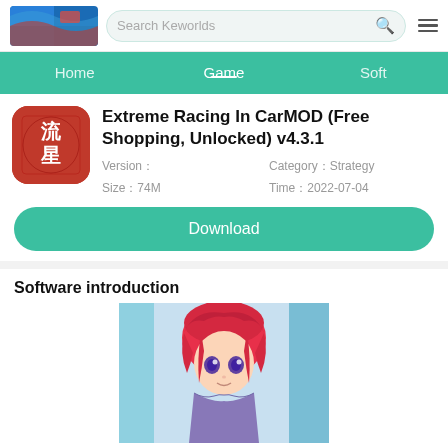Search Keworlds
Home | Game | Soft
Extreme Racing In CarMOD (Free Shopping, Unlocked) v4.3.1
Version：
Size：74M
Category：Strategy
Time：2022-07-04
Download
Software introduction
[Figure (screenshot): Anime character with red hair and purple eyes, screenshot from the game]